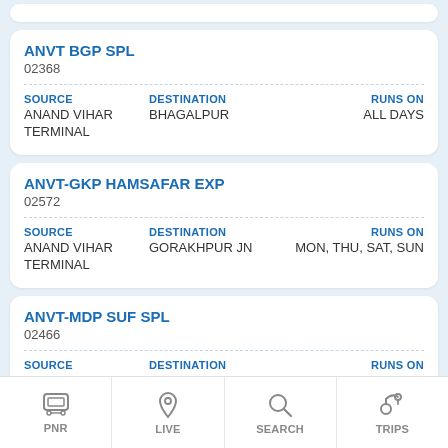ANVT BGP SPL
02368
SOURCE: ANAND VIHAR TERMINAL | DESTINATION: BHAGALPUR | RUNS ON: ALL DAYS
ANVT-GKP HAMSAFAR EXP
02572
SOURCE: ANAND VIHAR TERMINAL | DESTINATION: GORAKHPUR JN | RUNS ON: MON, THU, SAT, SUN
ANVT-MDP SUF SPL
02466
SOURCE: ANAND VIHAR TERMINAL | DESTINATION: MADHUPUR JN | RUNS ON: WED
LICHVI EXPRESS
PNR | LIVE | SEARCH | TRIPS